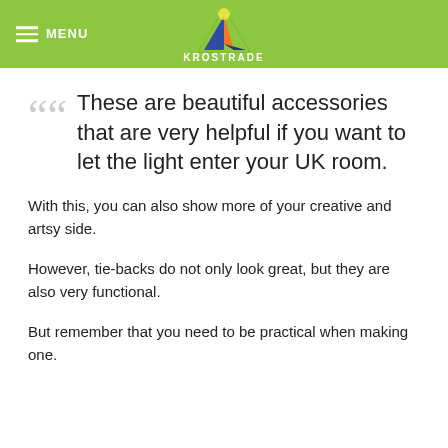MENU | KROSTRADE
These are beautiful accessories that are very helpful if you want to let the light enter your UK room.
With this, you can also show more of your creative and artsy side.
However, tie-backs do not only look great, but they are also very functional.
But remember that you need to be practical when making one.